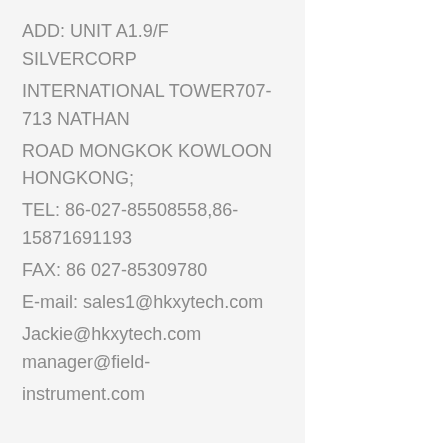ADD: UNIT A1.9/F SILVERCORP INTERNATIONAL TOWER707-713 NATHAN ROAD MONGKOK KOWLOON HONGKONG; TEL: 86-027-85508558,86-15871691193 FAX: 86 027-85309780 E-mail: sales1@hkxytech.com Jackie@hkxytech.com manager@field-instrument.com